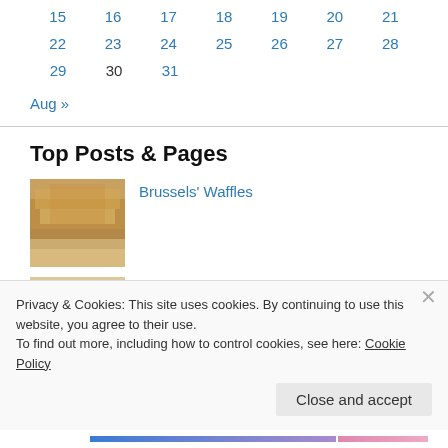| 15 | 16 | 17 | 18 | 19 | 20 | 21 |
| 22 | 23 | 24 | 25 | 26 | 27 | 28 |
| 29 | 30 | 31 |  |  |  |  |
Aug »
Top Posts & Pages
[Figure (photo): Photo of Brussels waffles stacked]
Brussels' Waffles
[Figure (photo): Photo of Belgo-American Beef Tartare]
Belgo-American Beef Tartare
Privacy & Cookies: This site uses cookies. By continuing to use this website, you agree to their use.
To find out more, including how to control cookies, see here: Cookie Policy